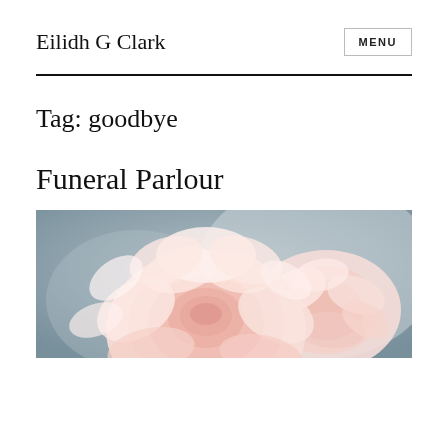Eilidh G Clark
Tag: goodbye
Funeral Parlour
[Figure (photo): Close-up photograph of soft pink roses with a blurred blue-grey background]